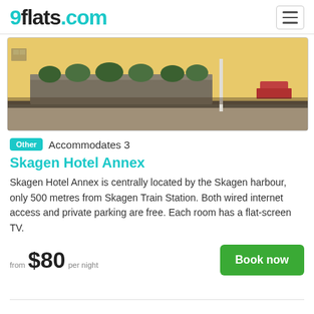9flats.com
[Figure (photo): Exterior photo of Skagen Hotel Annex showing a yellow building with planters containing green shrubs along a paved area]
Other   Accommodates 3
Skagen Hotel Annex
Skagen Hotel Annex is centrally located by the Skagen harbour, only 500 metres from Skagen Train Station. Both wired internet access and private parking are free. Each room has a flat-screen TV.
from $80 per night
Book now